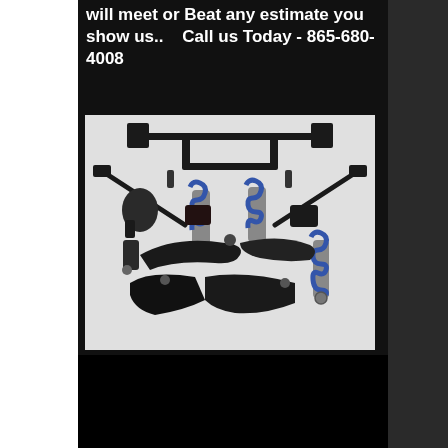will meet or Beat any estimate you show us..   Call us Today - 865-680-4008
[Figure (photo): Automotive suspension parts kit laid out on white background, including control arms, coilover shocks with blue springs, sway bar, spindles, and related hardware components.]